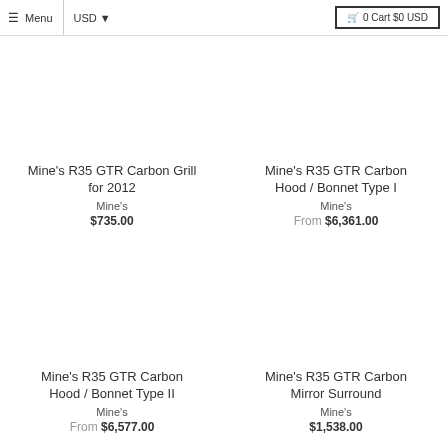≡ Menu | USD ▾  🛒 0 Cart $0 USD
Mine's R35 GTR Carbon Grill for 2012
Mine's
$735.00
Mine's R35 GTR Carbon Hood / Bonnet Type I
Mine's
From $6,361.00
Mine's R35 GTR Carbon Hood / Bonnet Type II
Mine's
From $6,577.00
Mine's R35 GTR Carbon Mirror Surround
Mine's
$1,538.00